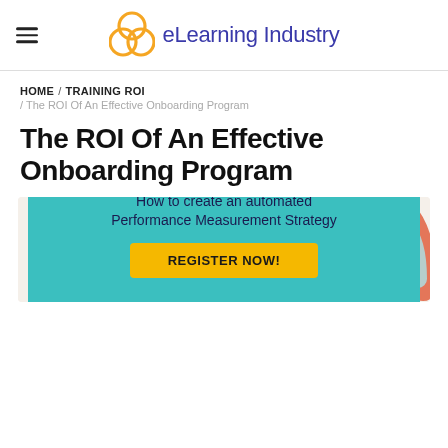eLearning Industry
HOME / TRAINING ROI / The ROI Of An Effective Onboarding Program
The ROI Of An Effective Onboarding Program
[Figure (illustration): Illustration of a businessman running with a briefcase toward a target/bullseye, with decorative concentric arc shapes on the right, against a beige background]
AllenComm PRESENTS: How to create an automated Performance Measurement Strategy REGISTER NOW!